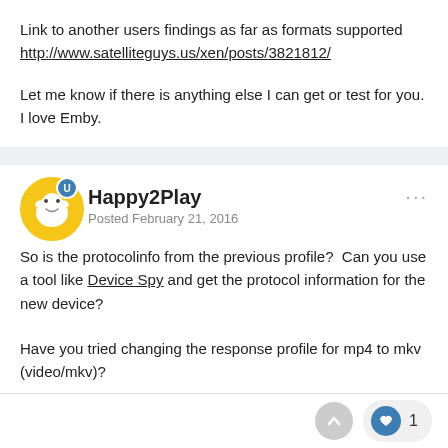Link to another users findings as far as formats supported http://www.satelliteguys.us/xen/posts/3821812/
Let me know if there is anything else I can get or test for you. I love Emby.
Happy2Play
Posted February 21, 2016
So is the protocolinfo from the previous profile?  Can you use a tool like Device Spy and get the protocol information for the new device?
Have you tried changing the response profile for mp4 to mkv (video/mkv)?